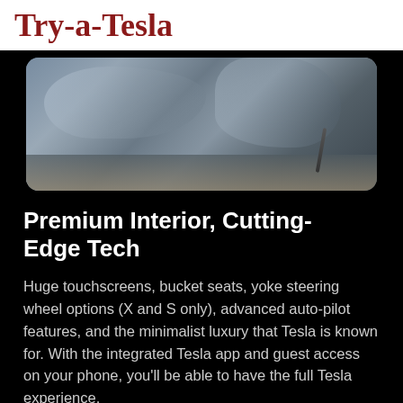Try-a-Tesla
[Figure (photo): Close-up photo of Tesla car interior showing denim-covered seat and floor mat with a cable visible]
Premium Interior, Cutting-Edge Tech
Huge touchscreens, bucket seats, yoke steering wheel options (X and S only), advanced auto-pilot features, and the minimalist luxury that Tesla is known for. With the integrated Tesla app and guest access on your phone, you'll be able to have the full Tesla experience.